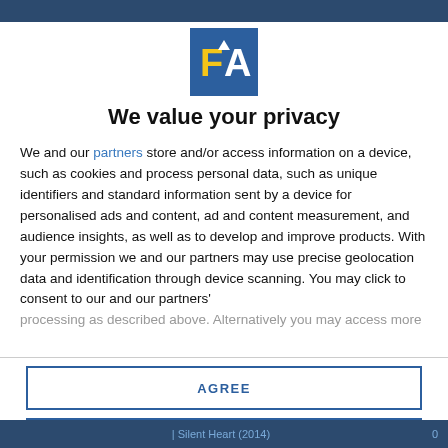[Figure (logo): FA logo: blue square with yellow letter F and white letter A]
We value your privacy
We and our partners store and/or access information on a device, such as cookies and process personal data, such as unique identifiers and standard information sent by a device for personalised ads and content, ad and content measurement, and audience insights, as well as to develop and improve products. With your permission we and our partners may use precise geolocation data and identification through device scanning. You may click to consent to our and our partners' processing as described above. Alternatively you may access more
AGREE
MORE OPTIONS
Silent Heart (2014)   0